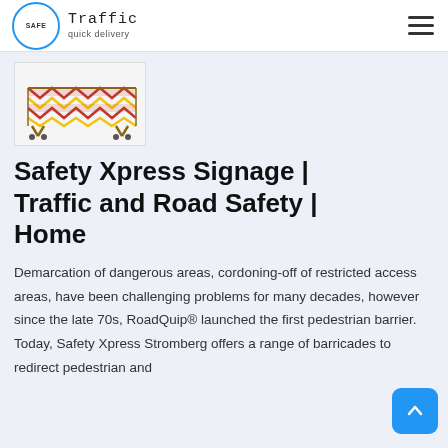Traffic quick delivery
[Figure (photo): Product image of an expandable pedestrian barrier/barricade in yellow and red colors on wheels]
Safety Xpress Signage | Traffic and Road Safety | Home
Demarcation of dangerous areas, cordoning-off of restricted access areas, have been challenging problems for many decades, however since the late 70s, RoadQuip® launched the first pedestrian barrier. Today, Safety Xpress Stromberg offers a range of barricades to redirect pedestrian and